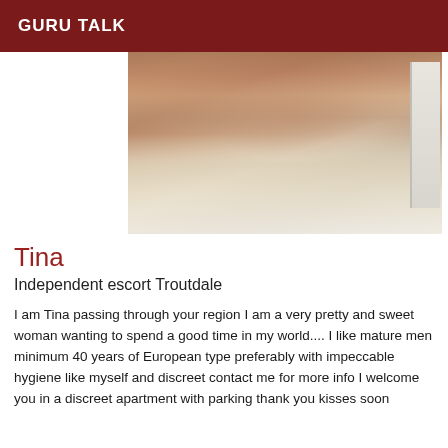GURU TALK
[Figure (photo): Close-up photo of a person's legs wearing white stockings/thigh-highs, partially cropped, with a white radiator visible in the background]
Tina
Independent escort Troutdale
I am Tina passing through your region I am a very pretty and sweet woman wanting to spend a good time in my world.... I like mature men minimum 40 years of European type preferably with impeccable hygiene like myself and discreet contact me for more info I welcome you in a discreet apartment with parking thank you kisses soon